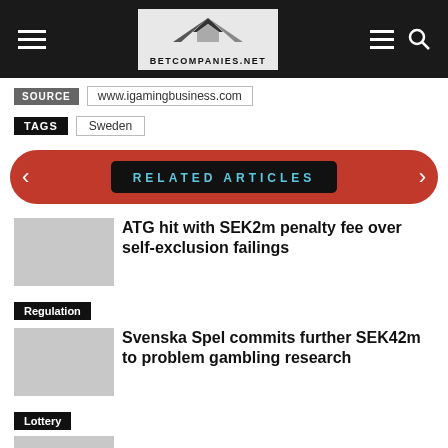BETCOMPANIES.NET
SOURCE   www.igamingbusiness.com
TAGS   Sweden
RELATED ARTICLES
ATG hit with SEK2m penalty fee over self-exclusion failings
Regulation
Svenska Spel commits further SEK42m to problem gambling research
Lottery
Acroud reveals plans for new affiliate acquisition in Q2 report
Finance